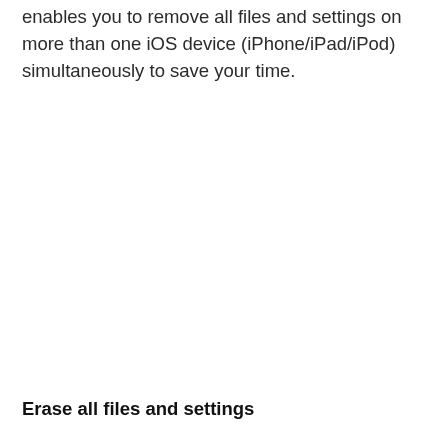enables you to remove all files and settings on more than one iOS device (iPhone/iPad/iPod) simultaneously to save your time.
Erase all files and settings